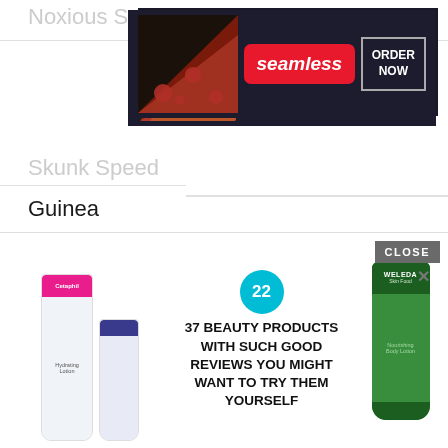Noxious Speed
[Figure (screenshot): Seamless food delivery ad with pizza image, red Seamless button, and ORDER NOW button on dark background]
Skunk Speed
Alien Speed
Alien Speed Evolution
Best of Speed
Speed registry
Cat Speed
Dragon Speed
Guinea ...
Synth...
[Figure (screenshot): Beauty product advertisement overlay showing Cetaphil and other skincare products with text '37 BEAUTY PRODUCTS WITH SUCH GOOD REVIEWS YOU MIGHT WANT TO TRY THEM YOURSELF' and a Weleda green tube product on the right. CLOSE button visible top right.]